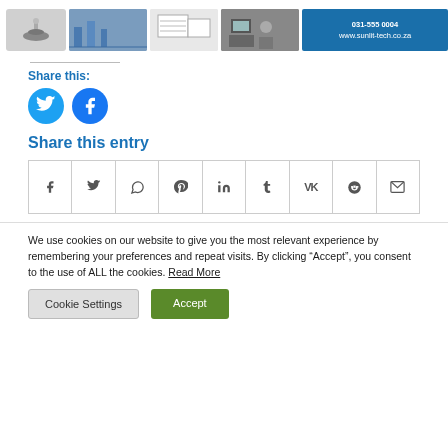[Figure (illustration): Top banner with product/service images: a lamp fixture, factory interior, architectural plans, office scene, and a blue panel with contact info 031-555 0004 and www.sunlit-tech.co.za]
Share this:
[Figure (illustration): Two circular social media share buttons: Twitter (blue bird) and Facebook (blue f)]
Share this entry
[Figure (illustration): Row of share icons in bordered grid cells: Facebook, Twitter, WhatsApp, Pinterest, LinkedIn, Tumblr, VK, Reddit, Email]
We use cookies on our website to give you the most relevant experience by remembering your preferences and repeat visits. By clicking “Accept”, you consent to the use of ALL the cookies. Read More
Cookie Settings
Accept